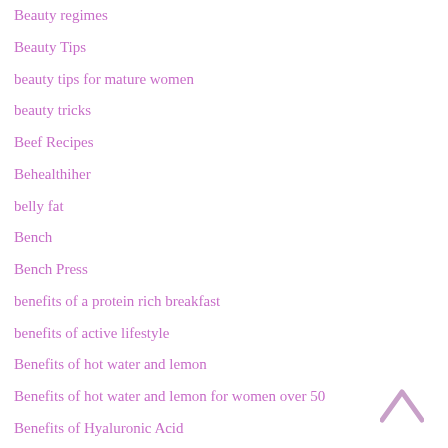Beauty regimes
Beauty Tips
beauty tips for mature women
beauty tricks
Beef Recipes
Behealthiher
belly fat
Bench
Bench Press
benefits of a protein rich breakfast
benefits of active lifestyle
Benefits of hot water and lemon
Benefits of hot water and lemon for women over 50
Benefits of Hyaluronic Acid